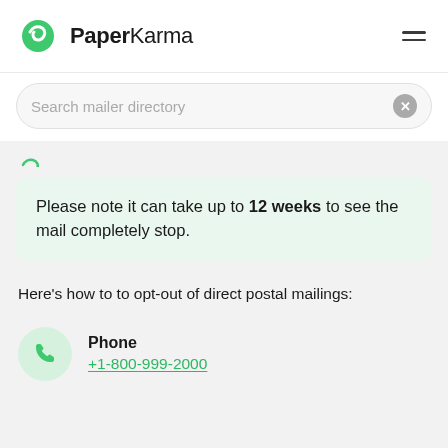PaperKarma
Search mailer directory
Please note it can take up to 12 weeks to see the mail completely stop.
Here's how to to opt-out of direct postal mailings:
Phone
+1-800-999-2000